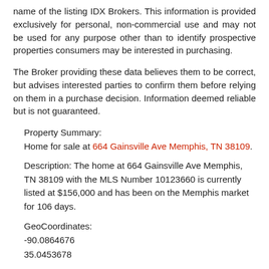name of the listing IDX Brokers. This information is provided exclusively for personal, non-commercial use and may not be used for any purpose other than to identify prospective properties consumers may be interested in purchasing.
The Broker providing these data believes them to be correct, but advises interested parties to confirm them before relying on them in a purchase decision. Information deemed reliable but is not guaranteed.
Property Summary:
Home for sale at 664 Gainsville Ave Memphis, TN 38109.
Description: The home at 664 Gainsville Ave Memphis, TN 38109 with the MLS Number 10123660 is currently listed at $156,000 and has been on the Memphis market for 106 days.
GeoCoordinates:
-90.0864676
35.0453678